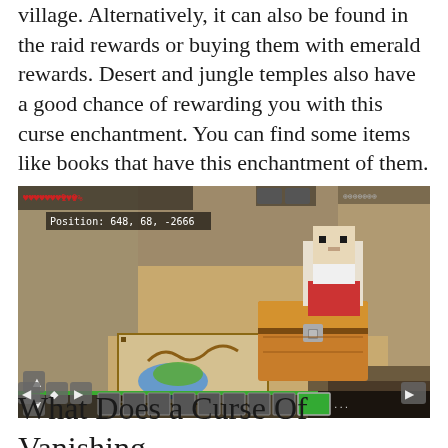village. Alternatively, it can also be found in the raid rewards or buying them with emerald rewards. Desert and jungle temples also have a good chance of rewarding you with this curse enchantment. You can find some items like books that have this enchantment of them.
[Figure (screenshot): A Minecraft screenshot showing a player character near a wooden chest with a map item on the ground. HUD elements visible including hearts, position coordinates 'Position: 648, 68, -2666', hotbar with items, and directional buttons.]
What Does a Curse Of Vanishing